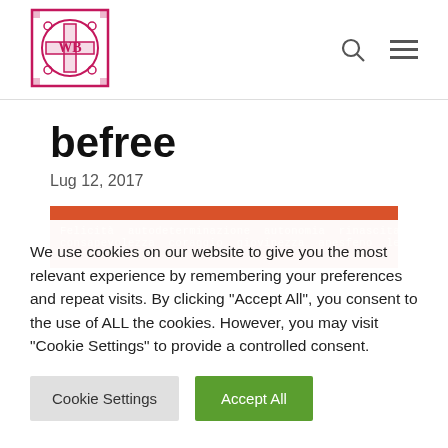[Figure (logo): Ornate pink/magenta cross logo with circular design, initials inside]
befree
Lug 12, 2017
[Figure (illustration): Orange banner with Italian words in light orange monospace text: Felicità autodeterminazione autonomia rinascita riscatto potenza consapevolezza coraggio giovinezza, etc.]
We use cookies on our website to give you the most relevant experience by remembering your preferences and repeat visits. By clicking "Accept All", you consent to the use of ALL the cookies. However, you may visit "Cookie Settings" to provide a controlled consent.
Cookie Settings
Accept All